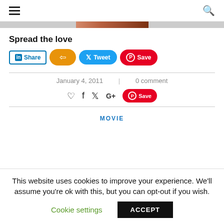Navigation header with hamburger menu and search icon
[Figure (photo): Partial image strip visible at top of content area]
Spread the love
[Figure (screenshot): Social sharing buttons: LinkedIn Share, orange share button, Tweet button, Pinterest Save button]
January 4, 2011  |  0 comment
[Figure (screenshot): Icon row: heart, facebook, twitter, google+, Pinterest Save button]
MOVIE
This website uses cookies to improve your experience. We'll assume you're ok with this, but you can opt-out if you wish.
Cookie settings  ACCEPT